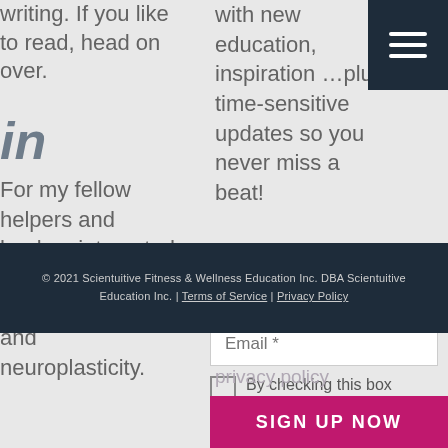writing. If you like to read, head on over.
in
For my fellow helpers and healers interested in all things trauma-informed and neuroplasticity.
with new education, inspiration …plus time-sensitive updates so you never miss a beat!
First Name *
Email *
By checking this box you give consent to use this information to send additional emails and
© 2021 Scientuitive Fitness & Wellness Education Inc. DBA Scientuitive Education Inc. | Terms of Service | Privacy Policy
privacy policy
SIGN UP NOW